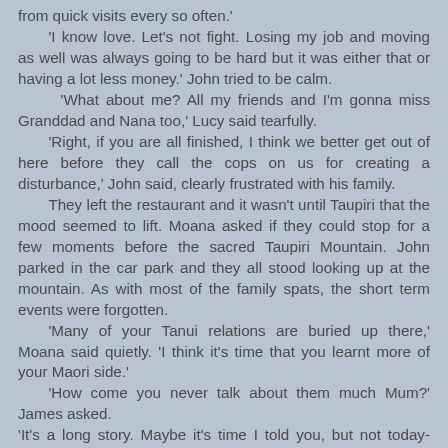from quick visits every so often.'
'I know love. Let's not fight. Losing my job and moving as well was always going to be hard but it was either that or having a lot less money.' John tried to be calm.
'What about me? All my friends and I'm gonna miss Granddad and Nana too,' Lucy said tearfully.
'Right, if you are all finished, I think we better get out of here before they call the cops on us for creating a disturbance,' John said, clearly frustrated with his family.
They left the restaurant and it wasn't until Taupiri that the mood seemed to lift. Moana asked if they could stop for a few moments before the sacred Taupiri Mountain. John parked in the car park and they all stood looking up at the mountain. As with most of the family spats, the short term events were forgotten.
'Many of your Tanui relations are buried up there,' Moana said quietly. 'I think it's time that you learnt more of your Maori side.'
'How come you never talk about them much Mum?' James asked.
'It's a long story. Maybe it's time I told you, but not today-OK?'